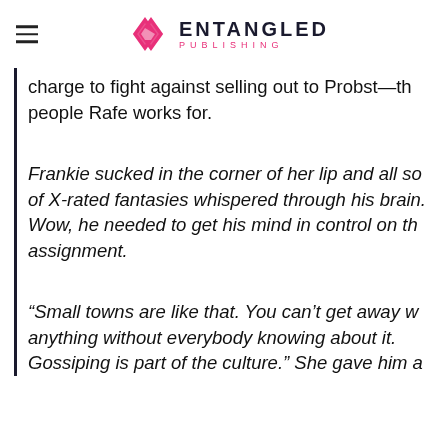ENTANGLED PUBLISHING
charge to fight against selling out to Probst—the people Rafe works for.
Frankie sucked in the corner of her lip and all so of X-rated fantasies whispered through his brain. Wow, he needed to get his mind in control on th assignment.
“Small towns are like that. You can’t get away w anything without everybody knowing about it. Gossiping is part of the culture.” She gave him a